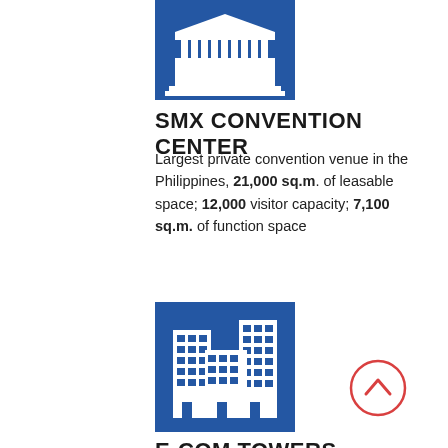[Figure (illustration): Blue square icon with white illustration of a convention center building facade with columns]
SMX CONVENTION CENTER
Largest private convention venue in the Philippines, 21,000 sq.m. of leasable space; 12,000 visitor capacity; 7,100 sq.m. of function space
[Figure (illustration): Blue square icon with white illustration of multiple office/commercial tower buildings]
[Figure (illustration): Red circle outline with upward chevron arrow inside]
E-COM TOWERS
Leadership in Energy and